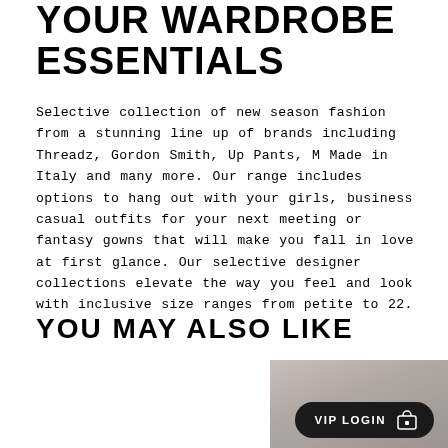YOUR WARDROBE ESSENTIALS
Selective collection of new season fashion from a stunning line up of brands including Threadz, Gordon Smith, Up Pants, M Made in Italy and many more. Our range includes options to hang out with your girls, business casual outfits for your next meeting or fantasy gowns that will make you fall in love at first glance. Our selective designer collections elevate the way you feel and look with inclusive size ranges from petite to 22.
YOU MAY ALSO LIKE
[Figure (photo): Partial photo of a person, bottom portion visible, below 'YOU MAY ALSO LIKE' heading]
VIP LOGIN